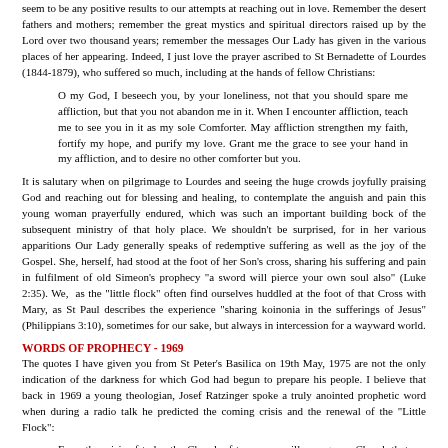seem to be any positive results to our attempts at reaching out in love. Remember the desert fathers and mothers; remember the great mystics and spiritual directors raised up by the Lord over two thousand years; remember the messages Our Lady has given in the various places of her appearing. Indeed, I just love the prayer ascribed to St Bernadette of Lourdes (1844-1879), who suffered so much, including at the hands of fellow Christians:
O my God, I beseech you, by your loneliness, not that you should spare me affliction, but that you not abandon me in it. When I encounter affliction, teach me to see you in it as my sole Comforter. May affliction strengthen my faith, fortify my hope, and purify my love. Grant me the grace to see your hand in my affliction, and to desire no other comforter but you.
It is salutary when on pilgrimage to Lourdes and seeing the huge crowds joyfully praising God and reaching out for blessing and healing, to contemplate the anguish and pain this young woman prayerfully endured, which was such an important building bock of the subsequent ministry of that holy place. We shouldn't be surprised, for in her various apparitions Our Lady generally speaks of redemptive suffering as well as the joy of the Gospel. She, herself, had stood at the foot of her Son's cross, sharing his suffering and pain in fulfilment of old Simeon's prophecy "a sword will pierce your own soul also" (Luke 2:35). We, as the "little flock" often find ourselves huddled at the foot of that Cross with Mary, as St Paul describes the experience "sharing koinonia in the sufferings of Jesus" (Philippians 3:10), sometimes for our sake, but always in intercession for a wayward world.
WORDS OF PROPHECY - 1969
The quotes I have given you from St Peter's Basilica on 19th May, 1975 are not the only indication of the darkness for which God had begun to prepare his people. I believe that back in 1969 a young theologian, Josef Ratzinger spoke a truly anointed prophetic word when during a radio talk he predicted the coming crisis and the renewal of the "Little Flock":
From the crisis of today the Church of tomorrow will emerge—a Church that has lost much. She will become small and will have to start afresh more or less from the beginning. She will no longer be able to inhabit many of the edifices she built in prosperity. As the number of her adherents diminishes, so will she lose many of her social privileges. In contrast to an earlier age, she will be seen much more as a voluntary society, entered only by free decision. As a small society, she will make much bigger demands on the initiative of her individual members. Undoubtedly she will discover new forms of ministry and will